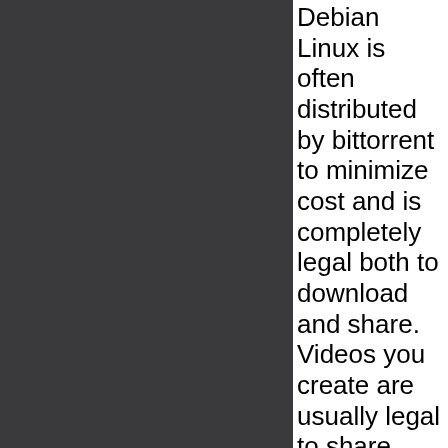Debian Linux is often distributed by bittorrent to minimize cost and is completely legal both to download and share. Videos you create are usually legal to share with Youtube.